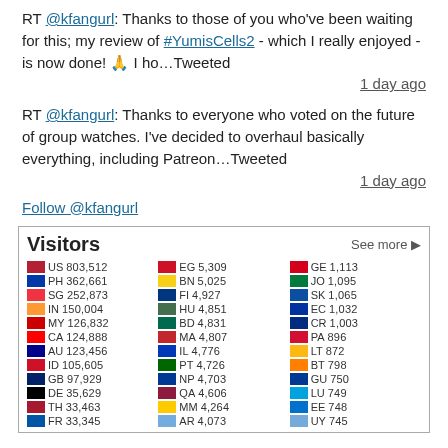RT @kfangurl: Thanks to those of you who've been waiting for this; my review of #YumisCells2 - which I really enjoyed - is now done! 🙏 I ho…Tweeted
1 day ago
RT @kfangurl: Thanks to everyone who voted on the future of group watches. I've decided to overhaul basically everything, including Patreon…Tweeted
1 day ago
Follow @kfangurl
| Country | Visitors | Country | Visitors | Country | Visitors |
| --- | --- | --- | --- | --- | --- |
| US | 803,512 | EG | 5,309 | GE | 1,113 |
| PH | 362,661 | BN | 5,025 | JO | 1,095 |
| SG | 252,873 | FI | 4,927 | SK | 1,065 |
| IN | 150,004 | HU | 4,851 | EC | 1,032 |
| MY | 126,832 | BD | 4,831 | CR | 1,003 |
| CA | 124,888 | MA | 4,807 | PA | 896 |
| AU | 123,456 | IL | 4,776 | LT | 872 |
| ID | 105,605 | PT | 4,726 | BT | 798 |
| GB | 97,929 | NP | 4,703 | GU | 750 |
| DE | 35,629 | QA | 4,606 | LU | 749 |
| TH | 33,463 | MM | 4,264 | EE | 748 |
| FR | 33,345 | AR | 4,073 | UY | 745 |